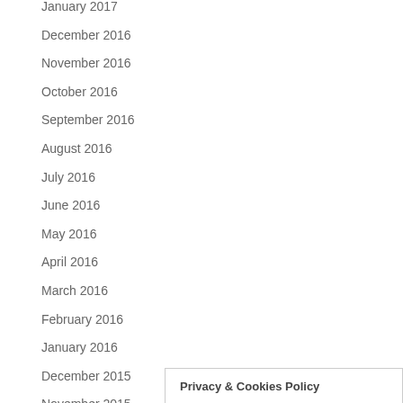January 2017
December 2016
November 2016
October 2016
September 2016
August 2016
July 2016
June 2016
May 2016
April 2016
March 2016
February 2016
January 2016
December 2015
November 2015
Privacy & Cookies Policy